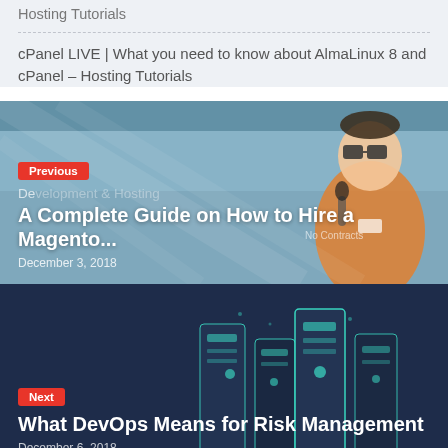Hosting Tutorials
cPanel LIVE | What you need to know about AlmaLinux 8 and cPanel – Hosting Tutorials
Previous
Development & Hosting
A Complete Guide on How to Hire a Magento...
December 3, 2018
Next
What DevOps Means for Risk Management
December 6, 2018